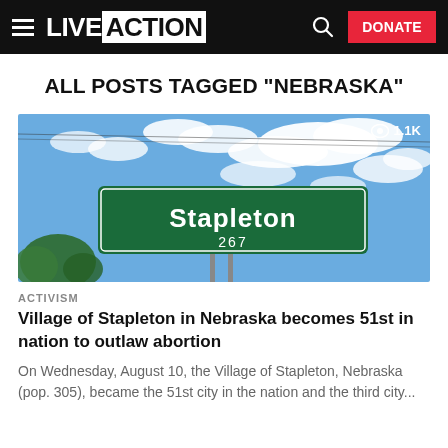LIVE ACTION | Search | DONATE
ALL POSTS TAGGED "NEBRASKA"
[Figure (photo): Photo of a green Stapleton, Nebraska city limits road sign showing population 267, against a blue sky with white clouds. A view count badge shows 1.1K in the top right corner.]
ACTIVISM
Village of Stapleton in Nebraska becomes 51st in nation to outlaw abortion
On Wednesday, August 10, the Village of Stapleton, Nebraska (pop. 305), became the 51st city in the nation and the third city...